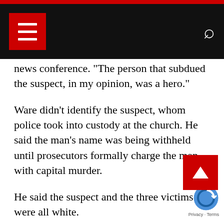Navigation bar with menu and search icons
news conference. "The person that subdued the suspect, in my opinion, was a hero."
Ware didn’t identify the suspect, whom police took into custody at the church. He said the man’s name was being withheld until prosecutors formally charge the man with capital murder.
He said the suspect and the three victims were all white.
The event was a “Boomers Potluck” gathering inside the church, according to messages posted on the church’s Facebook page by pastor the Rev. John Burruss. He said he was in Greece on a pilgrimage with a group of members and trying to get back to Alabama.
Police are still trying to determine the shooter’s motive.